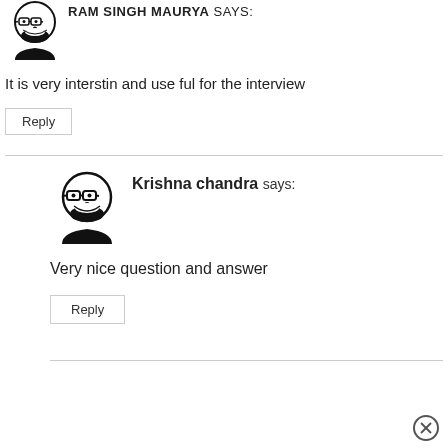[Figure (illustration): Avatar icon of a person with glasses, top of comment block for RAM SINGH MAURYA]
RAM SINGH MAURYA says:
It is very interstin and use ful for the interview
Reply
[Figure (illustration): Avatar icon of a person with glasses for Krishna chandra comment]
Krishna chandra says:
Very nice question and answer
Reply
[Figure (illustration): Close/X circle button at bottom right]